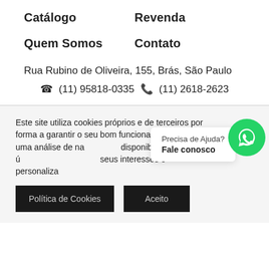Catálogo
Revenda
Quem Somos
Contato
Rua Rubino de Oliveira, 155, Brás, São Paulo
☎ (11) 95818-0335 📞 (11) 2618-2623
Este site utiliza cookies próprios e de terceiros por forma a garantir o seu bom funcionamento, efetuando uma análise de navegação, disponibilizando conteúdo útil tendo em conta os seus interesses e personalizando a publicidade.
Precisa de Ajuda? Fale conosco
Política de Cookies
Aceito